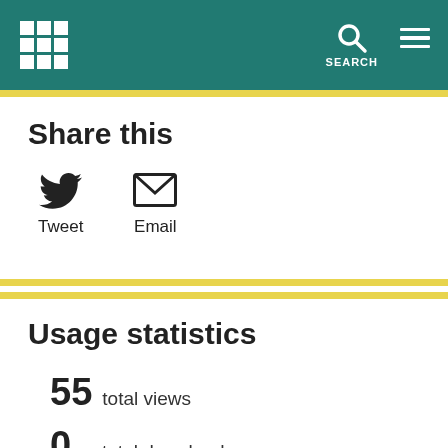SEARCH
Share this
[Figure (illustration): Twitter bird icon with label Tweet, and envelope/email icon with label Email]
Usage statistics
55  total views
0  total downloads
These values cover views and downloads from